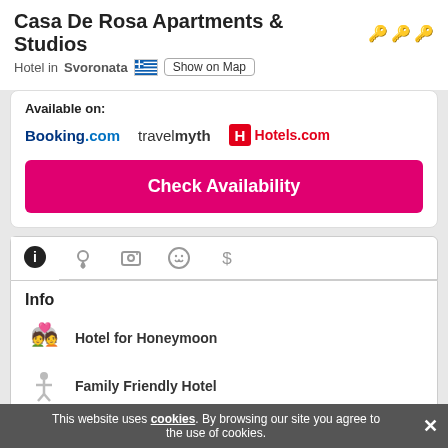Casa De Rosa Apartments & Studios
Hotel in Svoronata
Available on: Booking.com   travelmyth   Hotels.com
Check Availability
Info
Hotel for Honeymoon
Family Friendly Hotel
Hotel with Swimming Pool
Outdoor Pool
Categories
This website uses cookies. By browsing our site you agree to the use of cookies.